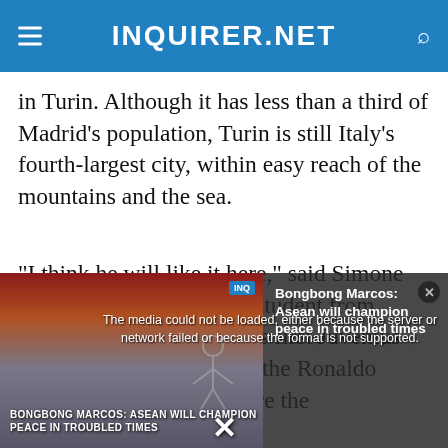INQUIRER.NET
in Turin. Although it has less than a third of Madrid’s population, Turin is still Italy’s fourth-largest city, within easy reach of the mountains and the sea.
“I think he will like it here,” said Simone Massucco, a 17-year-old student from Turin, who was buying his first Juventus shirt — emblazoned with the Ronaldo name. “It’s not a city where the
[Figure (screenshot): A media player overlay showing an error message: 'The media could not be loaded, either because the server or network failed or because the format is not supported.' Overlaid on a video thumbnail about 'Bongbong Marcos: Asean will champion peace in troubled times'. A close button (x) is shown at top right, and an X dismiss button at the bottom center.]